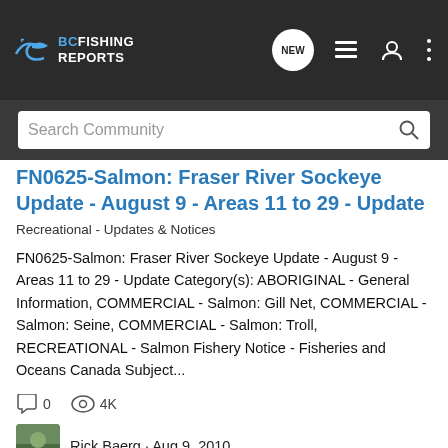[Figure (screenshot): BC Fishing Reports website header with logo, navigation icons (NEW, list, user, more), and search bar saying 'Search Community']
FN0625-Salmon: Fraser River Sockeye Update - August 9 - Areas 11 to 29 - Update
Recreational - Updates & Notices
FN0625-Salmon: Fraser River Sockeye Update - August 9 - Areas 11 to 29 - Update Category(s): ABORIGINAL - General Information, COMMERCIAL - Salmon: Gill Net, COMMERCIAL - Salmon: Seine, COMMERCIAL - Salmon: Troll, RECREATIONAL - Salmon Fishery Notice - Fisheries and Oceans Canada Subject...
0   4K
Rick Baerg · Aug 9, 2010
2010  charter  conditions  dfo  fisheries  fishing  fraser  fraser river  ice  management  marine  migration  nations